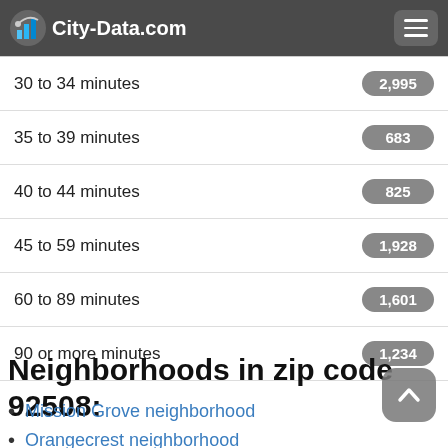City-Data.com
| Category | Value |
| --- | --- |
| 30 to 34 minutes | 2,995 |
| 35 to 39 minutes | 683 |
| 40 to 44 minutes | 825 |
| 45 to 59 minutes | 1,928 |
| 60 to 89 minutes | 1,601 |
| 90 or more minutes | 1,234 |
Neighborhoods in zip code 92508:
Mission Grove neighborhood
Orangecrest neighborhood